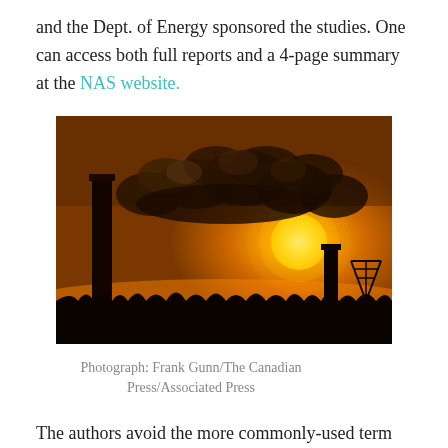and the Dept. of Energy sponsored the studies. One can access both full reports and a 4-page summary at the NAS website.
[Figure (photo): Industrial smokestacks silhouetted against a dramatic orange sunset sky, with dark smoke billowing from the stacks obscuring the sun.]
Photograph: Frank Gunn/The Canadian Press/Associated Press
The authors avoid the more commonly-used term